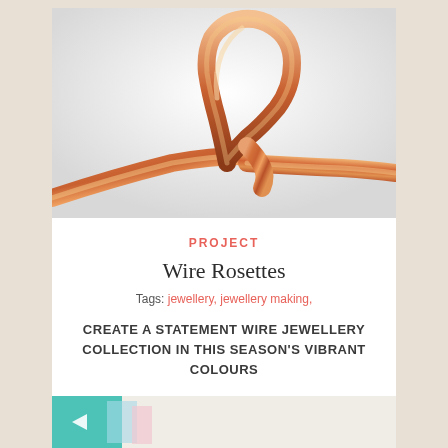[Figure (photo): Close-up photograph of shiny copper wire twisted into a loop/rosette shape against a light white-grey background]
PROJECT
Wire Rosettes
Tags: jewellery, jewellery making,
CREATE A STATEMENT WIRE JEWELLERY COLLECTION IN THIS SEASON'S VIBRANT COLOURS
View project »
[Figure (photo): Partial view of colourful craft/paper items at the bottom of the page]